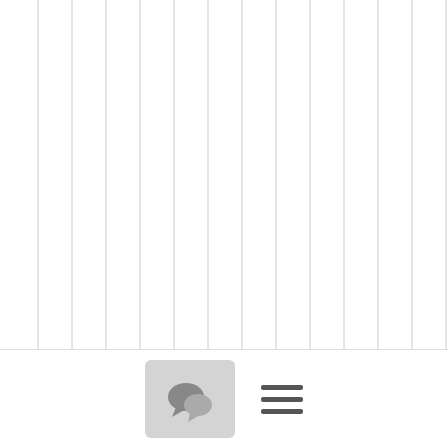[Figure (other): Vertical grey lines decorative background pattern on left portion of page]
vemachineefficiencyand r
[Figure (other): Bottom navigation bar with chat bubble icon button and hamburger menu icon]